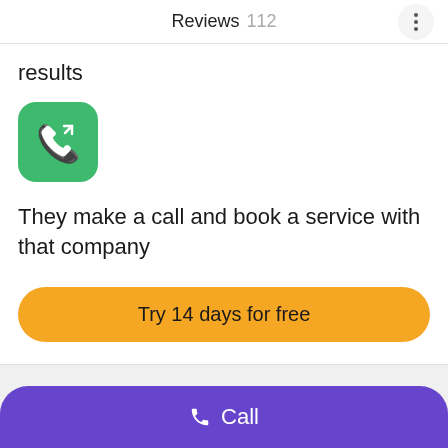Reviews 112
results
[Figure (illustration): Green rounded square icon with white phone/call symbol]
They make a call and book a service with that company
Try 14 days for free
Call